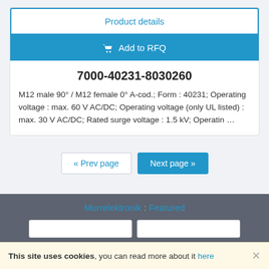Product details
Add to RFQ
7000-40231-8030260
M12 male 90° / M12 female 0° A-cod.; Form : 40231; Operating voltage : max. 60 V AC/DC; Operating voltage (only UL listed) : max. 30 V AC/DC; Rated surge voltage : 1.5 kV; Operatin …
« Prev page
Next page »
Murrelektronik : Featured
This site uses cookies, you can read more about it here